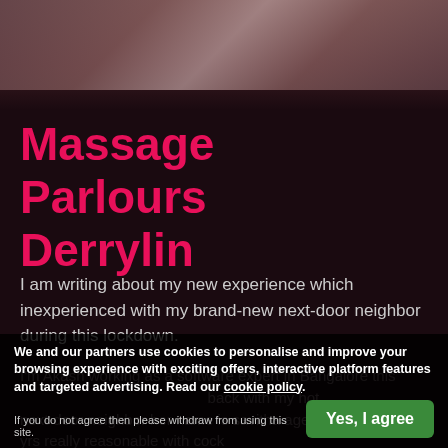[Figure (photo): Blurred/darkened image of people at top of page, dark reddish background]
Massage Parlours Derrylin
I am writing about my new experience which inexperienced with my brand-new next-door neighbor during this lockdown.
I'm Akash working as a software expert in Bangalore this ... next-door neighbor her name is savitha aged around 32 yrs really reasonable with cock
We and our partners use cookies to personalise and improve your browsing experience with exciting offers, interactive platform features and targeted advertising. Read our cookie policy. If you do not agree then please withdraw from using this site.